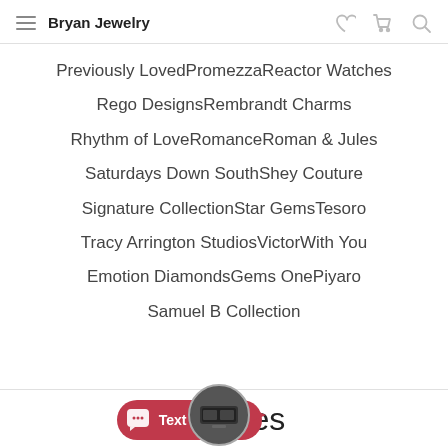Bryan Jewelry
Previously LovedPromezzaReactor Watches
Rego DesignsRembrandt Charms
Rhythm of LoveRomanceRoman & Jules
Saturdays Down SouthShey Couture
Signature CollectionStar GemsTesoro
Tracy Arrington StudiosVictorWith You
Emotion DiamondsGems OnePiyaro
Samuel B Collection
Services
[Figure (screenshot): Chat widget showing a device image in a circle with a pink 'Text Us Here!' button]